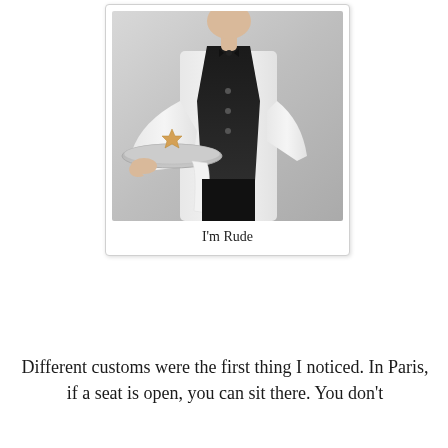[Figure (photo): A male waiter dressed in formal attire (black vest, white shirt, bow tie) holding a silver serving tray with a small food item, with a white cloth draped over his arm. Background is light grey.]
I'm Rude
Different customs were the first thing I noticed. In Paris, if a seat is open, you can sit there. You don't